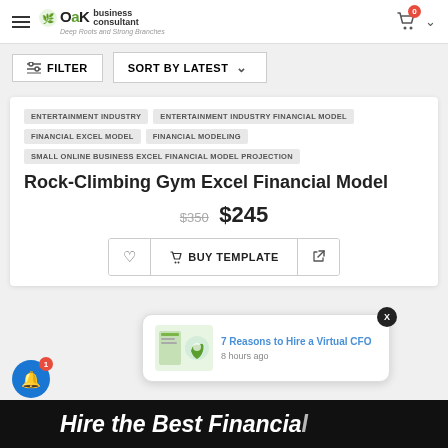OAK Business Consultant
FILTER | SORT BY LATEST
ENTERTAINMENT INDUSTRY
ENTERTAINMENT INDUSTRY FINANCIAL MODEL
FINANCIAL EXCEL MODEL
FINANCIAL MODELING
SMALL ONLINE BUSINESS EXCEL FINANCIAL MODEL PROJECTION
Rock-Climbing Gym Excel Financial Model
$350 $245
BUY TEMPLATE
7 Reasons to Hire a Virtual CFO — 8 hours ago
Hire the Best Financial